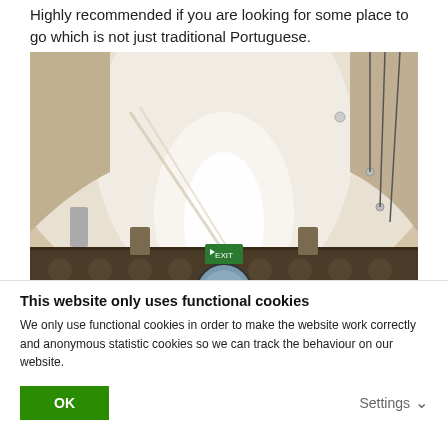Highly recommended if you are looking for some place to go which is not just traditional Portuguese.
[Figure (photo): Interior architectural photo showing an arched white ceiling of a restaurant or building, with ornate patterned wall tiles visible at the bottom, an exit sign, pendant lights and wires hanging from the ceiling, captured with a wide-angle or fisheye lens effect.]
This website only uses functional cookies
We only use functional cookies in order to make the website work correctly and anonymous statistic cookies so we can track the behaviour on our website.
OK
Settings